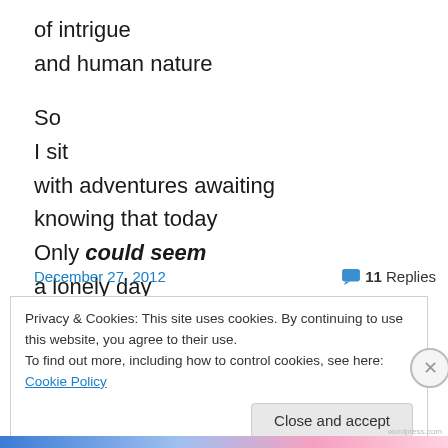of intrigue
and human nature

So
I sit
with adventures awaiting
knowing that today
Only could seem
a lonely day
December 27, 2012   💬 11 Replies
Privacy & Cookies: This site uses cookies. By continuing to use this website, you agree to their use.
To find out more, including how to control cookies, see here: Cookie Policy